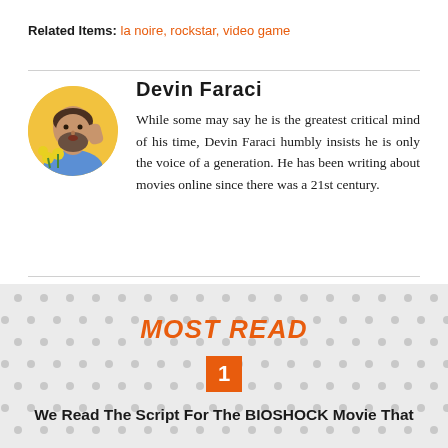Related Items: la noire, rockstar, video game
Devin Faraci
While some may say he is the greatest critical mind of his time, Devin Faraci humbly insists he is only the voice of a generation. He has been writing about movies online since there was a 21st century.
[Figure (photo): Circular portrait photo of Devin Faraci, a bearded man in a blue shirt holding yellow flowers, posed against a yellow background.]
MOST READ
1
We Read The Script For The BIOSHOCK Movie That